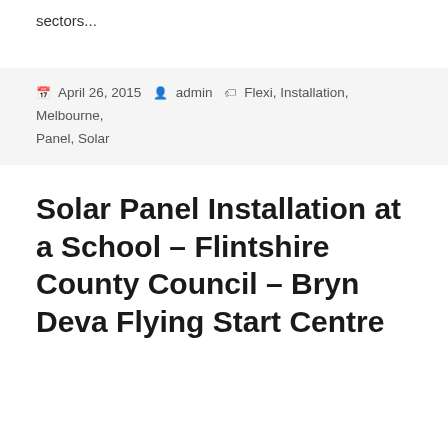sectors...
April 26, 2015  admin  Flexi, Installation, Melbourne, Panel, Solar
Solar Panel Installation at a School – Flintshire County Council – Bryn Deva Flying Start Centre